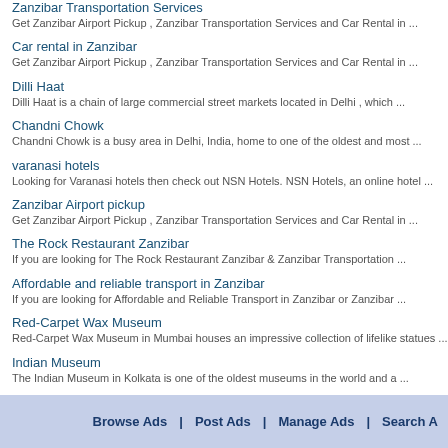Car rental in Zanzibar
Get Zanzibar Airport Pickup , Zanzibar Transportation Services and Car Rental in ...
Dilli Haat
Dilli Haat is a chain of large commercial street markets located in Delhi , which ...
Chandni Chowk
Chandni Chowk is a busy area in Delhi, India, home to one of the oldest and most ...
varanasi hotels
Looking for Varanasi hotels then check out NSN Hotels. NSN Hotels, an online hotel ...
Zanzibar Airport pickup
Get Zanzibar Airport Pickup , Zanzibar Transportation Services and Car Rental in ...
The Rock Restaurant Zanzibar
If you are looking for The Rock Restaurant Zanzibar & Zanzibar Transportation ...
Affordable and reliable transport in Zanzibar
If you are looking for Affordable and Reliable Transport in Zanzibar or Zanzibar ...
Red-Carpet Wax Museum
Red-Carpet Wax Museum in Mumbai houses an impressive collection of lifelike statues ...
Indian Museum
The Indian Museum in Kolkata is one of the oldest museums in the world and a ...
Ziplines in Tulum Img
Visiting Tulum doesn't need to be restricted to visiting the remains. This town ...
Find Maldives Tour With Swosti Travels
Browse Ads | Post Ads | Manage Ads | Search A